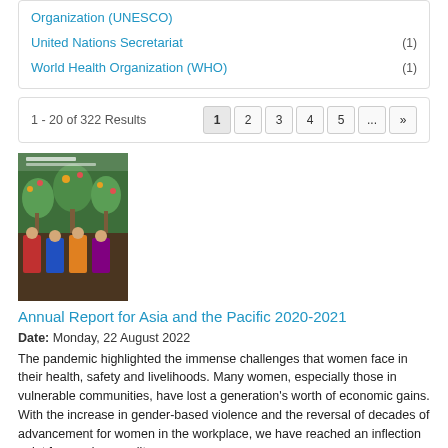Organization (UNESCO)
United Nations Secretariat (1)
World Health Organization (WHO) (1)
1 - 20 of 322 Results
[Figure (photo): Cover image of the Annual Report for Asia and the Pacific 2020-2021, showing women in colorful traditional clothing seated in front of a decorated mural with trees and flowers]
Annual Report for Asia and the Pacific 2020-2021
Date: Monday, 22 August 2022
The pandemic highlighted the immense challenges that women face in their health, safety and livelihoods. Many women, especially those in vulnerable communities, have lost a generation's worth of economic gains. With the increase in gender-based violence and the reversal of decades of advancement for women in the workplace, we have reached an inflection point for gender equality.